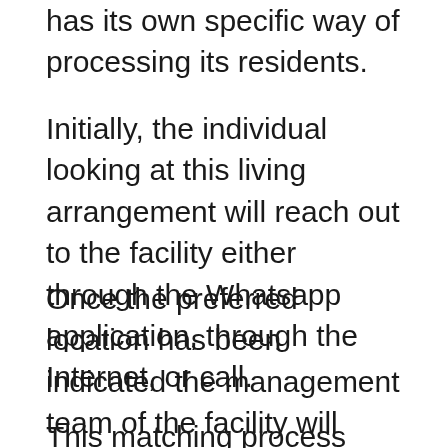has its own specific way of processing its residents.
Initially, the individual looking at this living arrangement will reach out to the facility either through the Whatsapp application, through the Internet, or call.
Once the preferred location has been indicated the management team of the facility will endeavor to match the potential resident with the appropriate coliving residence.
This matching process takes into